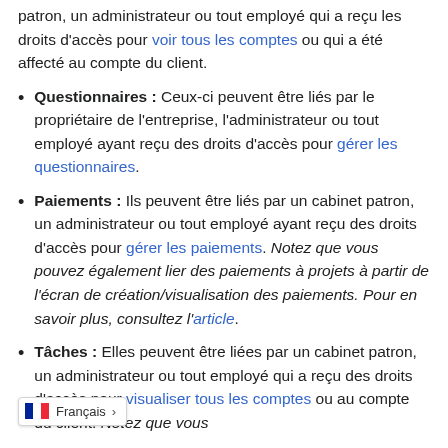patron, un administrateur ou tout employé qui a reçu les droits d'accès pour voir tous les comptes ou qui a été affecté au compte du client.
Questionnaires : Ceux-ci peuvent être liés par le propriétaire de l'entreprise, l'administrateur ou tout employé ayant reçu des droits d'accès pour gérer les questionnaires.
Paiements : Ils peuvent être liés par un cabinet patron, un administrateur ou tout employé ayant reçu des droits d'accès pour gérer les paiements. Notez que vous pouvez également lier des paiements à projets à partir de l'écran de création/visualisation des paiements. Pour en savoir plus, consultez l'article.
Tâches : Elles peuvent être liées par un cabinet patron, un administrateur ou tout employé qui a reçu des droits d'accès pour visualiser tous les comptes ou au compte du client. Notez que vous